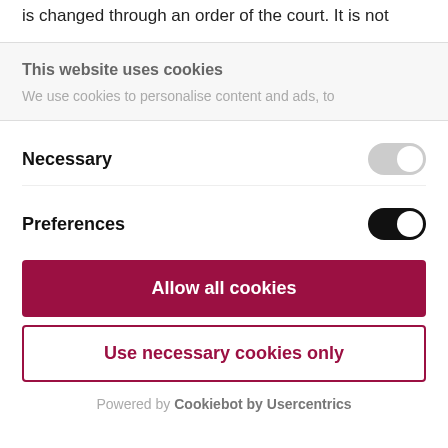is changed through an order of the court. It is not
This website uses cookies
We use cookies to personalise content and ads, to
Necessary
Preferences
Allow all cookies
Use necessary cookies only
Powered by Cookiebot by Usercentrics